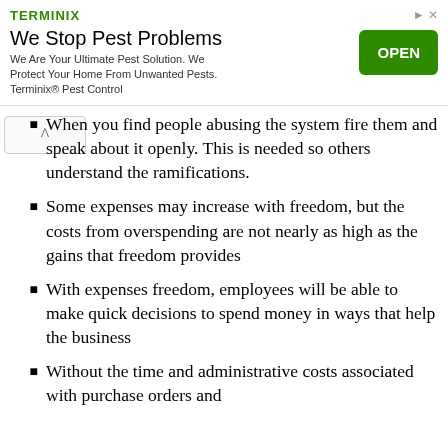[Figure (other): Terminix advertisement banner with logo, headline 'We Stop Pest Problems', body text, and green OPEN button]
When you find people abusing the system fire them and speak about it openly. This is needed so others understand the ramifications.
Some expenses may increase with freedom, but the costs from overspending are not nearly as high as the gains that freedom provides
With expenses freedom, employees will be able to make quick decisions to spend money in ways that help the business
Without the time and administrative costs associated with purchase orders and